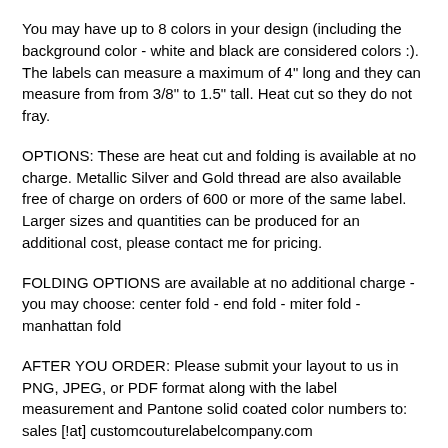You may have up to 8 colors in your design (including the background color - white and black are considered colors :). The labels can measure a maximum of 4" long and they can measure from from 3/8" to 1.5" tall. Heat cut so they do not fray.
OPTIONS: These are heat cut and folding is available at no charge. Metallic Silver and Gold thread are also available free of charge on orders of 600 or more of the same label. Larger sizes and quantities can be produced for an additional cost, please contact me for pricing.
FOLDING OPTIONS are available at no additional charge - you may choose: center fold - end fold - miter fold - manhattan fold
AFTER YOU ORDER: Please submit your layout to us in PNG, JPEG, or PDF format along with the label measurement and Pantone solid coated color numbers to:
sales [!at] customcouturelabelcompany.com